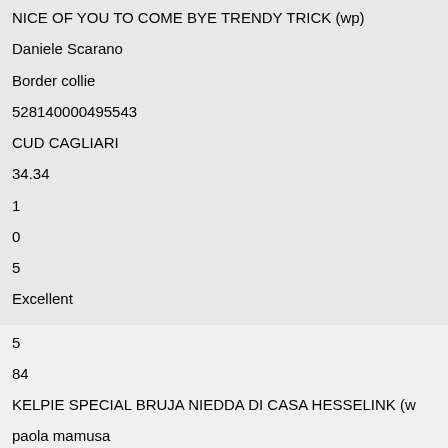NICE OF YOU TO COME BYE TRENDY TRICK (wp)
Daniele Scarano
Border collie
528140000495543
CUD CAGLIARI
34.34
1
0
5
Excellent
5
84
KELPIE SPECIAL BRUJA NIEDDA DI CASA HESSELINK (w
paola mamusa
Cane da pastore australiano kelpie
380260002021240
Kerberos
41.06
1
0